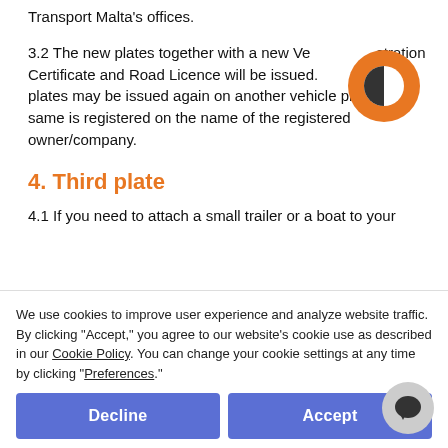Transport Malta's offices.
3.2 The new plates together with a new Vehicle Registration Certificate and Road Licence will be issued. The returned plates may be issued again on another vehicle provided same is registered on the name of the registered owner/company.
4. Third plate
4.1 If you need to attach a small trailer or a boat to your vehicle, you require a third plate. Customers must produce an Application Form (TA 005), duly filled in and stating the size of plate at Transport Malta's offices. We will issue the third plate.
The third plate and an updated logbook are issued at a fee of €45.
5. Lost or stolen p...
We use cookies to improve user experience and analyze website traffic. By clicking "Accept," you agree to our website's cookie use as described in our Cookie Policy. You can change your cookie settings at any time by clicking "Preferences."